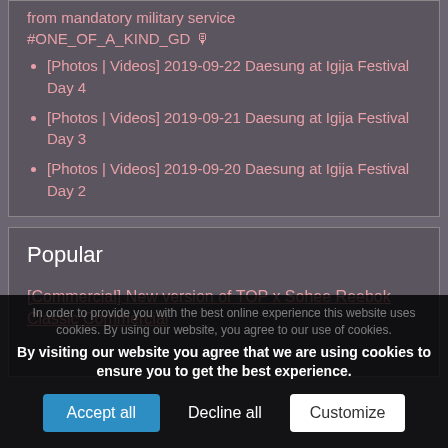from mandatory military service #ONE_OF_A_KIND_GD 🎙
[Photos | Videos] 2019-09-22 Daesung at Igija Festival Day 4
[Photos | Videos] 2019-09-21 Daesung at Igija Festival Day 3
[Photos | Videos] 2019-09-20 Daesung at Igija Festival Day 2
Popular
[Commercial] New version of TOP x Sohee Reebok Classic Commercial
By visiting our website you agree that we are using cookies to ensure you to get the best experience.